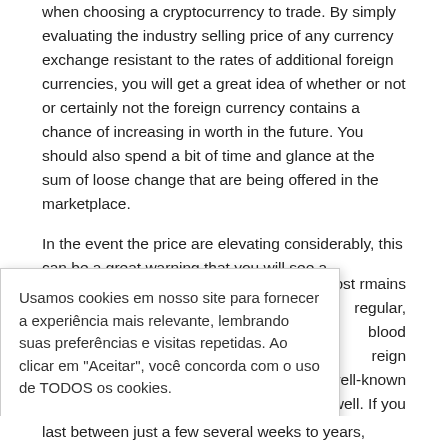when choosing a cryptocurrency to trade. By simply evaluating the industry selling price of any currency exchange resistant to the rates of additional foreign currencies, you will get a great idea of whether or not or certainly not the foreign currency contains a chance of increasing in worth in the future. You should also spend a bit of time and glance at the sum of loose change that are being offered in the marketplace.
In the event the price are elevating considerably, this can be a great warning that you will see a tremendous embrace the future. In the event the cost remains regular, blood reign well-known well. If you han the ing a bubble.
Usamos cookies em nosso site para fornecer a experiência mais relevante, lembrando suas preferências e visitas repetidas. Ao clicar em "Aceitar", você concorda com o uso de TODOS os cookies.
Configurações de cookie
ACEITAR
et. For that uring this time change Bubble may
last between just a few several weeks to years,